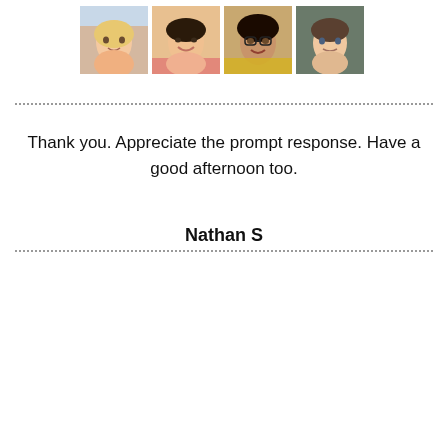[Figure (photo): Four portrait photos of people (two women, two men) arranged in a horizontal row at the top of the page.]
Thank you. Appreciate the prompt response. Have a good afternoon too.
Nathan S